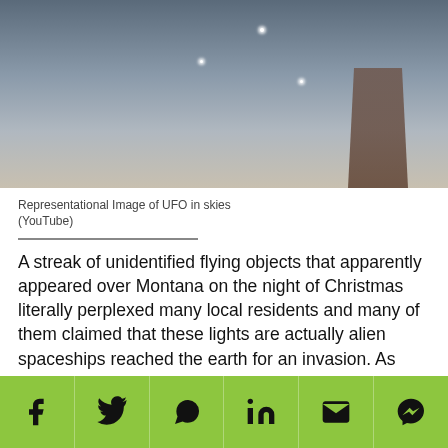[Figure (photo): Night sky photo showing lights in the sky above a structure, described as UFO sighting over Montana]
Representational Image of UFO in skies
(YouTube)
A streak of unidentified flying objects that apparently appeared over Montana on the night of Christmas literally perplexed many local residents and many of them claimed that these lights are actually alien spaceships reached the earth for an invasion. As speculations surrounding these lights continue ruling the internet, the current best explanation for the row of bright lights in the night sky has a connection with
Social share bar: Facebook, Twitter, WhatsApp, LinkedIn, Email, Messenger